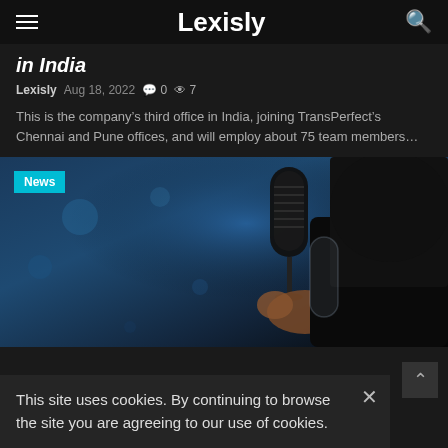Lexisly
in India
Lexisly  Aug 18, 2022  0  7
This is the company’s third office in India, joining TransPerfect’s Chennai and Pune offices, and will employ about 75 team members…
[Figure (photo): Person holding a microphone at an event, blue-lit background, with a 'News' badge overlay in the top-left corner.]
This site uses cookies. By continuing to browse the site you are agreeing to our use of cookies.